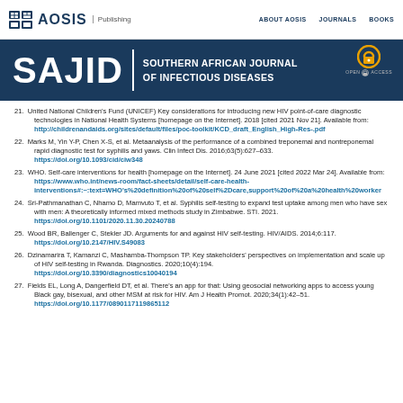AOSIS Publishing | ABOUT AOSIS | JOURNALS | BOOKS
[Figure (logo): SAJID - Southern African Journal of Infectious Diseases banner with AOSIS Publishing logo and Open Access badge]
21. United National Children's Fund (UNICEF) Key considerations for introducing new HIV point-of-care diagnostic technologies in National Health Systems [homepage on the Internet]. 2018 [cited 2021 Nov 21]. Available from: http://childrenandaids.org/sites/default/files/poc-toolkit/KCD_draft_English_High-Res-.pdf
22. Marks M, Yin Y-P, Chen X-S, et al. Metaanalysis of the performance of a combined treponemal and nontreponemal rapid diagnostic test for syphilis and yaws. Clin Infect Dis. 2016;63(5):627–633. https://doi.org/10.1093/cid/ciw348
23. WHO. Self-care interventions for health [homepage on the Internet]. 24 June 2021 [cited 2022 Mar 24]. Available from: https://www.who.int/news-room/fact-sheets/detail/self-care-health-interventions#:~:text=WHO's%20definition%20of%20self%2Dcare,support%20of%20a%20health%20worker
24. Sri-Pathmanathan C, Nhamo D, Mamvuto T, et al. Syphilis self-testing to expand test uptake among men who have sex with men: A theoretically informed mixed methods study in Zimbabwe. STI. 2021. https://doi.org/10.1101/2020.11.30.20240788
25. Wood BR, Ballenger C, Stekler JD. Arguments for and against HIV self-testing. HIV/AIDS. 2014;6:117. https://doi.org/10.2147/HIV.S49083
26. Dzinamarira T, Kamanzi C, Mashamba-Thompson TP. Key stakeholders' perspectives on implementation and scale up of HIV self-testing in Rwanda. Diagnostics. 2020;10(4):194. https://doi.org/10.3390/diagnostics10040194
27. Fields EL, Long A, Dangerfield DT, et al. There's an app for that: Using geosocial networking apps to access young Black gay, bisexual, and other MSM at risk for HIV. Am J Health Promot. 2020;34(1):42–51. https://doi.org/10.1177/0890117119865112